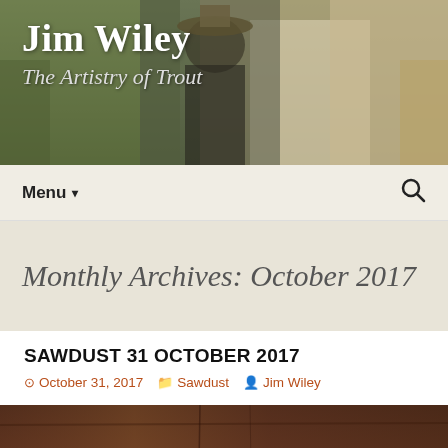[Figure (photo): Header photo banner showing a man in a hat outdoors near a building with a lamp; dark/muted tones]
Jim Wiley
The Artistry of Trout
Menu ▾
Monthly Archives: October 2017
SAWDUST 31 OCTOBER 2017
October 31, 2017   Sawdust   Jim Wiley
[Figure (photo): Close-up photo of a trout fly or fishing lure on a dark wooden surface]